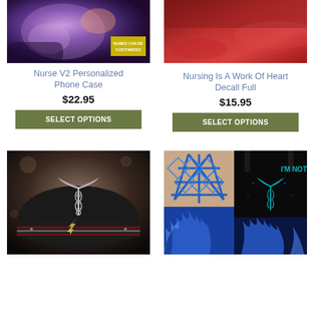[Figure (photo): Product photo of Nurse V2 Personalized Phone Case with purple/pink swirl design and 'NAMES CAN BE CUSTOMIZED' badge]
Nurse V2 Personalized Phone Case
$22.95
SELECT OPTIONS
[Figure (photo): Product photo of Nursing Is A Work Of Heart Decal Full showing red car surface with decal]
Nursing Is A Work Of Heart Decall Full
$15.95
SELECT OPTIONS
[Figure (photo): Product photo of a baseball cap with medical caduceus symbol on American flag torn metal background]
[Figure (photo): Product photo of a criss-cross back tank top with blue flame nurse design, shown from back and front with 'I'M NOT MOST WOMEN' text]